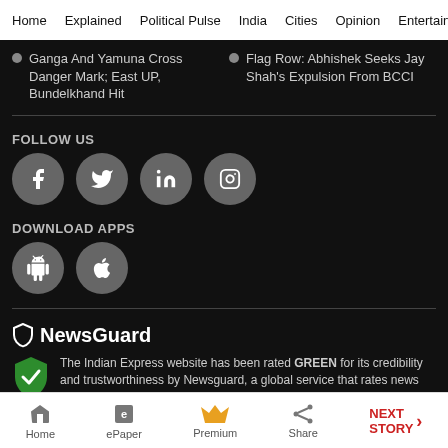Home  Explained  Political Pulse  India  Cities  Opinion  Entertainment
Ganga And Yamuna Cross Danger Mark; East UP, Bundelkhand Hit
Flag Row: Abhishek Seeks Jay Shah's Expulsion From BCCI
FOLLOW US
[Figure (illustration): Social media icons: Facebook, Twitter, LinkedIn, Instagram in grey circles]
DOWNLOAD APPS
[Figure (illustration): App download icons: Android and Apple in grey circles]
NewsGuard
The Indian Express website has been rated GREEN for its credibility and trustworthiness by Newsguard, a global service that rates news sources for their journalistic standards.
Home  ePaper  Premium  Share  NEXT STORY